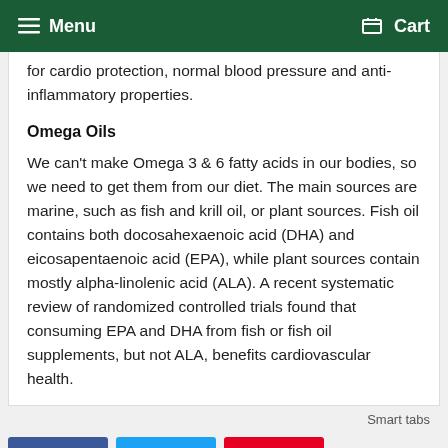Menu   Cart
for cardio protection, normal blood pressure and anti-inflammatory properties.
Omega Oils
We can't make Omega 3 & 6 fatty acids in our bodies, so we need to get them from our diet. The main sources are marine, such as fish and krill oil, or plant sources. Fish oil contains both docosahexaenoic acid (DHA) and eicosapentaenoic acid (EPA), while plant sources contain mostly alpha-linolenic acid (ALA). A recent systematic review of randomized controlled trials found that consuming EPA and DHA from fish or fish oil supplements, but not ALA, benefits cardiovascular health.
Smart tabs